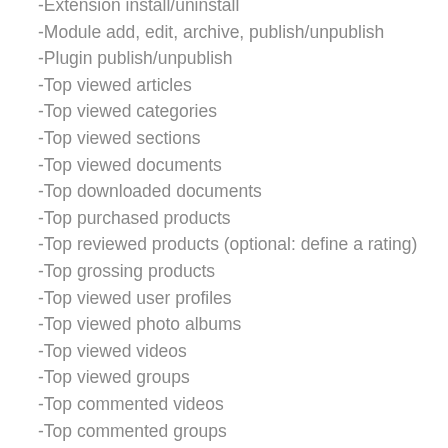-Extension install/uninstall
-Module add, edit, archive, publish/unpublish
-Plugin publish/unpublish
-Top viewed articles
-Top viewed categories
-Top viewed sections
-Top viewed documents
-Top downloaded documents
-Top purchased products
-Top reviewed products (optional: define a rating)
-Top grossing products
-Top viewed user profiles
-Top viewed photo albums
-Top viewed videos
-Top viewed groups
-Top commented videos
-Top commented groups
-Most popular topics (views)
-Most popular topics (posts)
-Most Thank Yous
-Members who were thanked the most